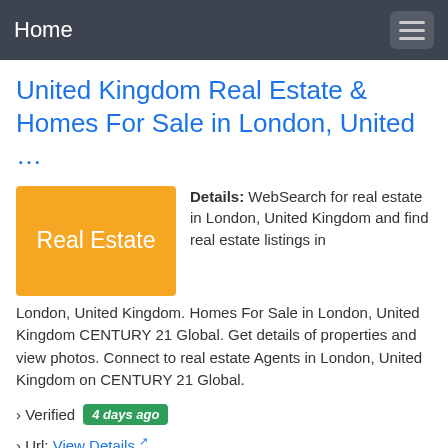Home
United Kingdom Real Estate & Homes For Sale in London, United …
[Figure (illustration): Orange/amber rectangle banner with white text 'Real Estate']
Details: WebSearch for real estate in London, United Kingdom and find real estate listings in London, United Kingdom. Homes For Sale in London, United Kingdom CENTURY 21 Global. Get details of properties and view photos. Connect to real estate Agents in London, United Kingdom on CENTURY 21 Global.
› Verified  4 days ago
› Url: View Details
› Get more:  Homes for sale
View Real Estate